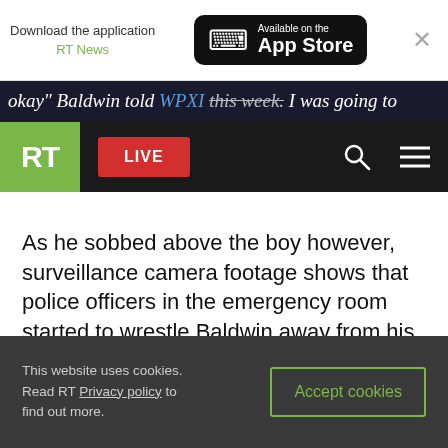[Figure (screenshot): App Store download banner with RT News label and Available on the App Store button, plus close X button]
okay" Baldwin told WPXI this week. I was going to
[Figure (logo): RT logo (green square with white RT text), LIVE red button, search and menu icons on black navbar]
As he sobbed above the boy however, surveillance camera footage shows that police officers in the emergency room started to wrestle Baldwin away from his step-son, with one cop eventually using his Taser stun-gun on the man.
This website uses cookies. Read RT Privacy policy to find out more.